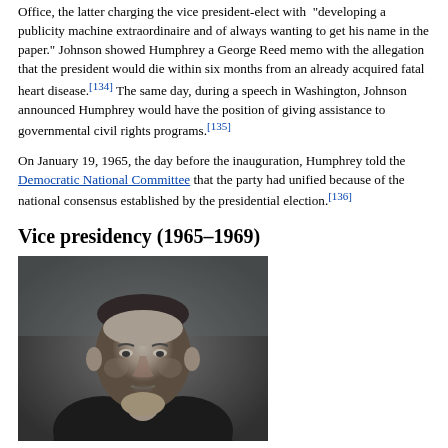Office, the latter charging the vice president-elect with "developing a publicity machine extraordinaire and of always wanting to get his name in the paper." Johnson showed Humphrey a George Reed memo with the allegation that the president would die within six months from an already acquired fatal heart disease.[134] The same day, during a speech in Washington, Johnson announced Humphrey would have the position of giving assistance to governmental civil rights programs.[135]
On January 19, 1965, the day before the inauguration, Humphrey told the Democratic National Committee that the party had unified because of the national consensus established by the presidential election.[136]
Vice presidency (1965–1969)
[Figure (photo): Black and white photograph of Hubert Humphrey, showing him from the shoulders up, looking slightly upward, wearing a dark suit.]